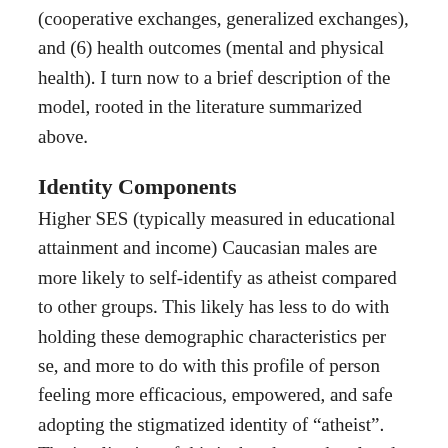(cooperative exchanges, generalized exchanges), and (6) health outcomes (mental and physical health). I turn now to a brief description of the model, rooted in the literature summarized above.
Identity Components
Higher SES (typically measured in educational attainment and income) Caucasian males are more likely to self-identify as atheist compared to other groups. This likely has less to do with holding these demographic characteristics per se, and more to do with this profile of person feeling more efficacious, empowered, and safe adopting the stigmatized identity of “atheist”. The implication of this is that those who already hold an identity they perceive to be stigmatized (e.g., a racial or ethnic minority) will be